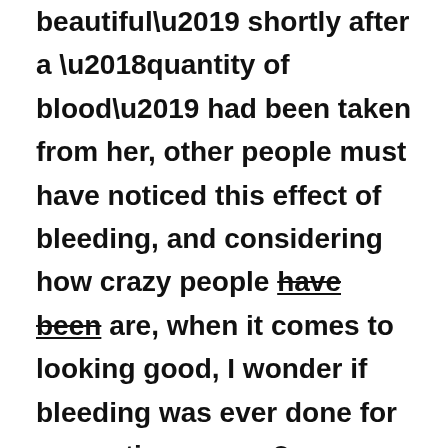beautiful’ shortly after a ‘quantity of blood’ had been taken from her, other people must have noticed this effect of bleeding, and considering how crazy people have been are, when it comes to looking good, I wonder if bleeding was ever done for cosmetic reasons?

I have found no accounts of cosmetic bleeding, I rather hope they don’t exist,